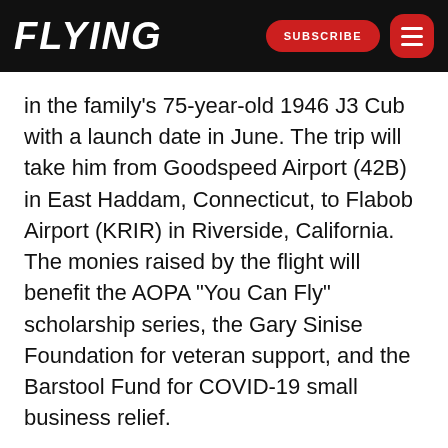FLYING | SUBSCRIBE
in the family's 75-year-old 1946 J3 Cub with a launch date in June. The trip will take him from Goodspeed Airport (42B) in East Haddam, Connecticut, to Flabob Airport (KRIR) in Riverside, California. The monies raised by the flight will benefit the AOPA “You Can Fly” scholarship series, the Gary Sinise Foundation for veteran support, and the Barstool Fund for COVID-19 small business relief.
Young Pilots USA also plans an annual fly-